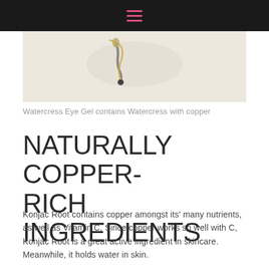☰
[Figure (photo): Close-up photo of a dropper bottle tip with golden/yellow liquid on a light background]
Watercress Eye Gel contains Watercress with copper
NATURALLY COPPER-RICH INGREDIENTS
Konjac Root contains copper amongst its' many nutrients, as well as Vitamin C. Since copper works so well with C, Konjac Root is a great active ingredient in skincare. Meanwhile, it holds water in skin.